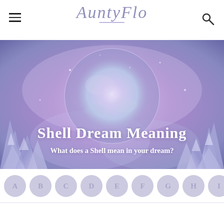AuntyFlo
[Figure (photo): Purple and lavender mystical background with amethyst crystals on sides and a large glowing moon orb in center]
Shell Dream Meaning
What does a Shell mean in your dream?
A B C D E F G H I (alphabet navigation buttons)